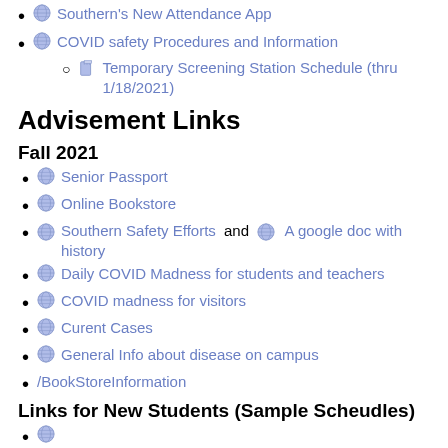Southern's New Attendance App
COVID safety Procedures and Information
Temporary Screening Station Schedule (thru 1/18/2021)
Advisement Links
Fall 2021
Senior Passport
Online Bookstore
Southern Safety Efforts and A google doc with history
Daily COVID Madness for students and teachers
COVID madness for visitors
Curent Cases
General Info about disease on campus
/BookStoreInformation
Links for New Students (Sample Scheudles)